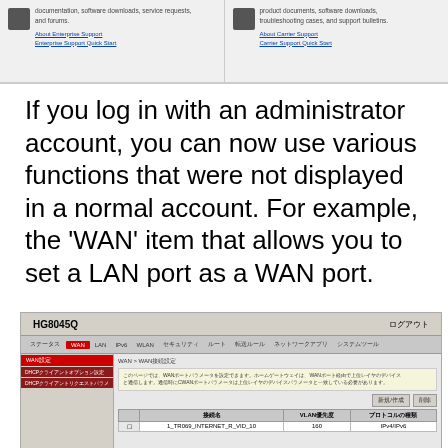[Figure (screenshot): Top strip showing two support portal sections with icons and links for Enterprise Support and Carrier Support, each with sub-links.]
If you log in with an administrator account, you can now use various functions that were not displayed in a normal account. For example, the 'WAN' item that allows you to set a LAN port as a WAN port.
[Figure (screenshot): Router admin panel for HG8045Q showing WAN configuration page with Japanese UI. Navigation tabs: ステータス, WAN (active/red), LAN, IPv6, WLAN, セキュリティ, ルート, 転送ルール, ネットワークアプリ, システムツール. Left sidebar: WAN設定 (active/red), DHCPクライアントオプション設定, DHCPクライアントリクエストパラメ. Main content shows WAN接続設定 breadcrumb, info text in beige box, table with接続名/VLAN優先度/プロトコルの種類 columns and row: 1_TR069_INTERNET_R_VID_10 / 160 / IPv4IPv6.]